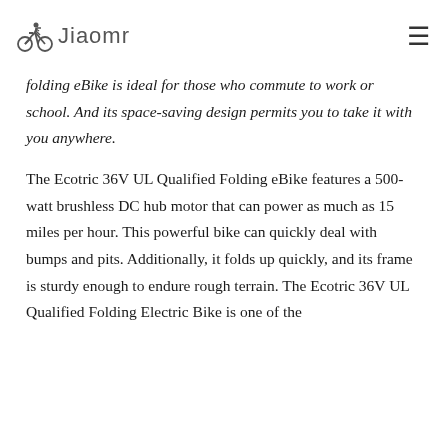Jiaomr [logo with cyclist icon] [hamburger menu]
folding eBike is ideal for those who commute to work or school. And its space-saving design permits you to take it with you anywhere.
The Ecotric 36V UL Qualified Folding eBike features a 500-watt brushless DC hub motor that can power as much as 15 miles per hour. This powerful bike can quickly deal with bumps and pits. Additionally, it folds up quickly, and its frame is sturdy enough to endure rough terrain. The Ecotric 36V UL Qualified Folding Electric Bike is one of the